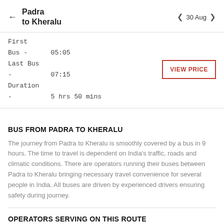← Padra to Kheralu   < 30 Aug >
| First Bus - | 05:05 |
| Last Bus - | 07:15 |
| Duration - | 5 hrs 50 mins |
BUS FROM PADRA TO KHERALU
The journey from Padra to Kheralu is smoothly covered by a bus in 9 hours. The time to travel is dependent on India's traffic, roads and climatic conditions. There are operators running their buses between Padra to Kheralu bringing necessary travel convenience for several people in India. All buses are driven by experienced drivers ensuring safety during journey.
OPERATORS SERVING ON THIS ROUTE